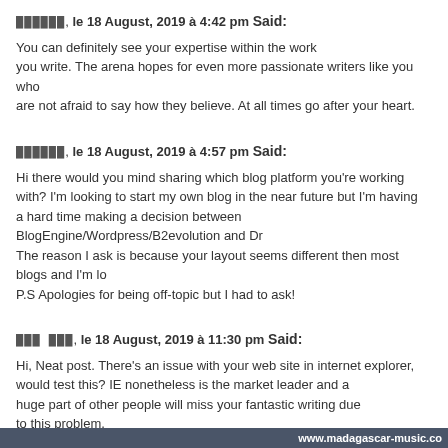██████, le 18 August, 2019 à 4:42 pm Said:
You can definitely see your expertise within the work you write. The arena hopes for even more passionate writers like you who are not afraid to say how they believe. At all times go after your heart.
██████, le 18 August, 2019 à 4:57 pm Said:
Hi there would you mind sharing which blog platform you're working with? I'm looking to start my own blog in the near future but I'm having a hard time making a decision between BlogEngine/Wordpress/B2evolution and Dr... The reason I ask is because your layout seems different then most blogs and I'm lo... P.S Apologies for being off-topic but I had to ask!
███ ███, le 18 August, 2019 à 11:30 pm Said:
Hi, Neat post. There's an issue with your web site in internet explorer, would test this? IE nonetheless is the market leader and a huge part of other people will miss your fantastic writing due to this problem.
█████, le 19 August, 2019 à 11:01 pm Said:
Simply want to say your article is as astonishing. The clarity for your publish is just nice and i could suppose you are a professional in this subject. Well with your permission allow me to grasp
www.madagascar-music.co...